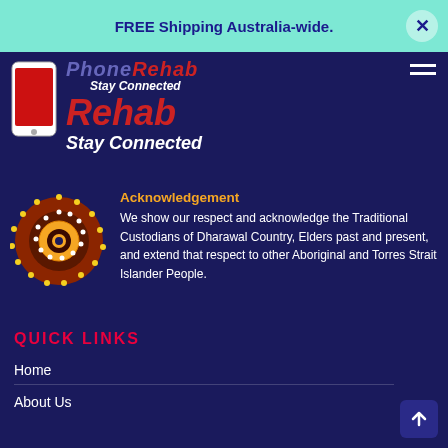FREE Shipping Australia-wide.
[Figure (logo): PhoneRehab Stay Connected logo with phone icon on dark navy background]
Acknowledgement
We show our respect and acknowledge the Traditional Custodians of Dharawal Country, Elders past and present, and extend that respect to other Aboriginal and Torres Strait Islander People.
QUICK LINKS
Home
About Us